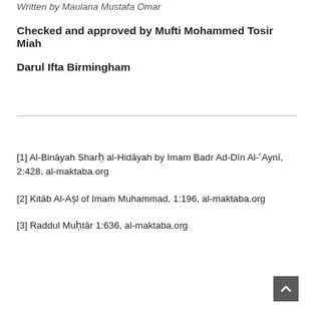Written by Maulana Mustafa Omar
Checked and approved by Mufti Mohammed Tosir Miah
Darul Ifta Birmingham
[1] Al-Bināyah Sharḥ al-Hidāyah by Imam Badr Ad-Dīn Al-ʿAynī, 2:428, al-maktaba.org
[2] Kitāb Al-Aṣl of Imam Muhammad, 1:196, al-maktaba.org
[3] Raddul Muḥtār 1:636, al-maktaba.org